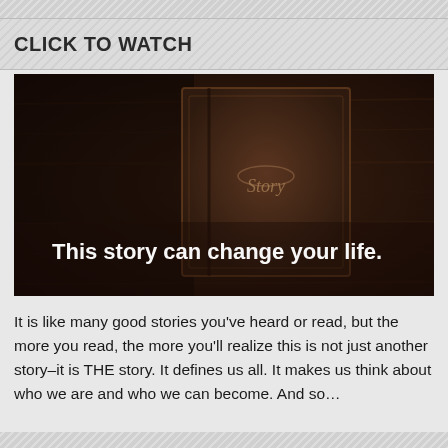CLICK TO WATCH
[Figure (photo): Dark brown leather-look book on a wooden dark surface with text 'Story' on the cover, and overlaid white text reading 'This story can change your life.']
It is like many good stories you've heard or read, but the more you read, the more you'll realize this is not just another story–it is THE story. It defines us all. It makes us think about who we are and who we can become. And so…